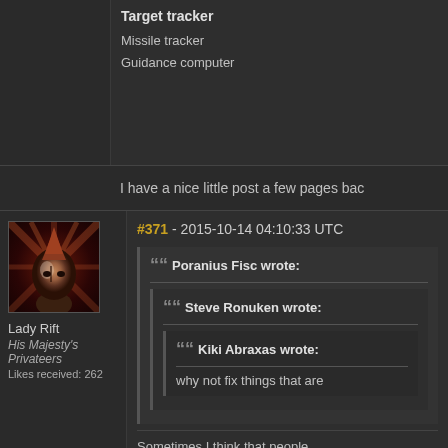Target tracker
Missile tracker
Guidance computer
I have a nice little post a few pages bac
#371 - 2015-10-14 04:10:33 UTC
[Figure (photo): Avatar portrait of Lady Rift, a sci-fi character with red/orange hair and facial markings against a dark red radial background]
Lady Rift
His Majesty's Privateers
Likes received: 262
Poranius Fisc wrote:
Steve Ronuken wrote:
Kiki Abraxas wrote:
why not fix things that are
Sometimes I think that people